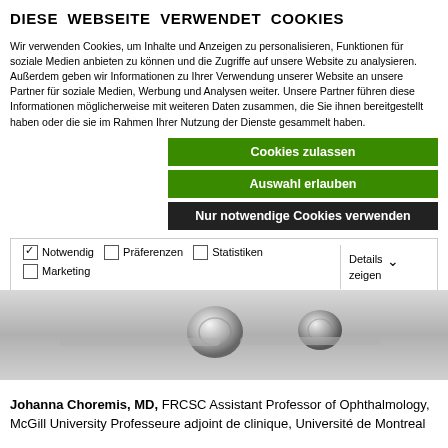DIESE WEBSEITE VERWENDET COOKIES
Wir verwenden Cookies, um Inhalte und Anzeigen zu personalisieren, Funktionen für soziale Medien anbieten zu können und die Zugriffe auf unsere Website zu analysieren. Außerdem geben wir Informationen zu Ihrer Verwendung unserer Website an unsere Partner für soziale Medien, Werbung und Analysen weiter. Unsere Partner führen diese Informationen möglicherweise mit weiteren Daten zusammen, die Sie ihnen bereitgestellt haben oder die sie im Rahmen Ihrer Nutzung der Dienste gesammelt haben.
Cookies zulassen
Auswahl erlauben
Nur notwendige Cookies verwenden
| ✓ Notwendig | ☐ Präferenzen | ☐ Statistiken | Details zeigen ∨ |
| ☐ Marketing |  |  |  |
[Figure (photo): Metallic surgical instrument close-up on grey background]
Johanna Choremis, MD, FRCSC Assistant Professor of Ophthalmology, McGill University Professeure adjoint de clinique, Université de Montreal